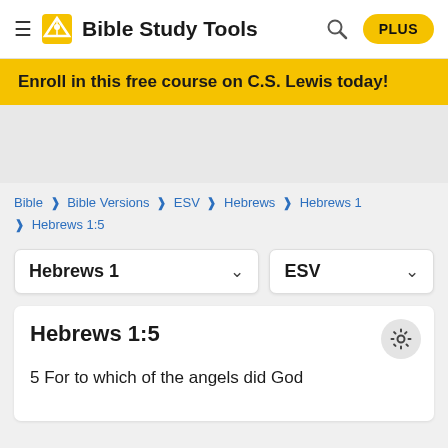Bible Study Tools  PLUS
Enroll in this free course on C.S. Lewis today!
Bible > Bible Versions > ESV > Hebrews > Hebrews 1 > Hebrews 1:5
Hebrews 1   ESV
Hebrews 1:5
5 For to which of the angels did God